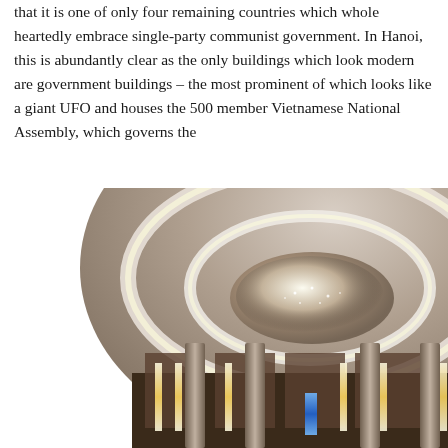that it is one of only four remaining countries which whole heartedly embrace single-party communist government. In Hanoi, this is abundantly clear as the only buildings which look modern are government buildings – the most prominent of which looks like a giant UFO and houses the 500 member Vietnamese National Assembly, which governs the
[Figure (photo): Interior photograph of what appears to be the Vietnamese National Assembly building, showing a grand circular ceiling with concentric illuminated rings and a large chandelier in the center. Below the ceiling are columns and vertical light strips lining the walls.]